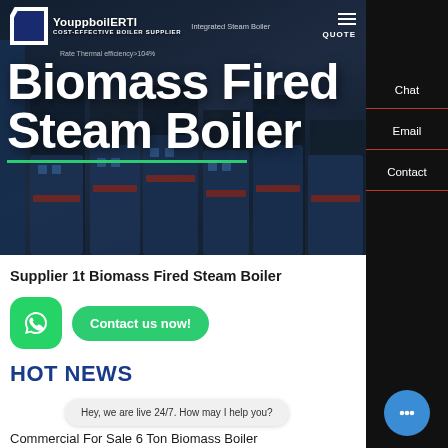[Figure (screenshot): Website screenshot showing a boiler supplier website with dark hero image of industrial boiler machinery, navigation bar with logo 'YouppboilERTI COST-EFFECTIVE BOILER SUPPLIER', hero heading 'Biomass Fired Steam Boiler', right sidebar with Chat/Email/Contact options, and bottom content area with heading 'Supplier 1t Biomass Fired Steam Boiler', HOT NEWS section, WhatsApp contact widget, and partial text 'Commercial For Sale 6 Ton Biomass Boiler']
Biomass Fired Steam Boiler
Supplier 1t Biomass Fired Steam Boiler
HOT NEWS
Hey, we are live 24/7. How may I help you?
Commercial For Sale 6 Ton Biomass Boiler